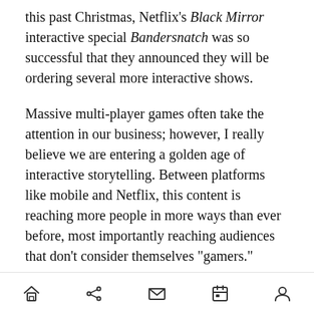this past Christmas, Netflix's Black Mirror interactive special Bandersnatch was so successful that they announced they will be ordering several more interactive shows.
Massive multi-player games often take the attention in our business; however, I really believe we are entering a golden age of interactive storytelling. Between platforms like mobile and Netflix, this content is reaching more people in more ways than ever before, most importantly reaching audiences that don’t consider themselves “gamers.”
Unity and Unreal are investing in narrative-based tools and technology like real-time raytracing that
home share mail calendar profile